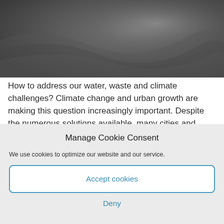[Figure (photo): Abstract dark grey background image with subtle wave or smoke-like patterns, used as a hero/banner image at the top of the page.]
How to address our water, waste and climate challenges? Climate change and urban growth are making this question increasingly important. Despite the numerous solutions available, many cities and organisations have yet to find a
Manage Cookie Consent
We use cookies to optimize our website and our service.
Accept cookies
Deny